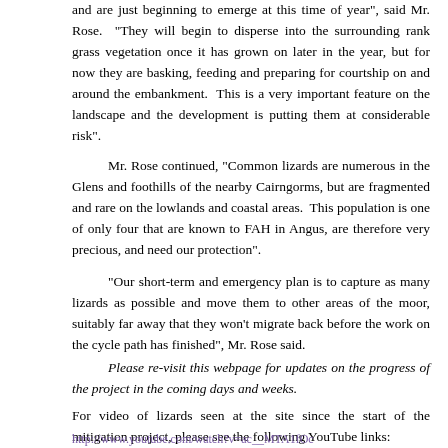and are just beginning to emerge at this time of year", said Mr. Rose. "They will begin to disperse into the surrounding rank grass vegetation once it has grown on later in the year, but for now they are basking, feeding and preparing for courtship on and around the embankment. This is a very important feature on the landscape and the development is putting them at considerable risk".
Mr. Rose continued, “Common lizards are numerous in the Glens and foothills of the nearby Cairngorms, but are fragmented and rare on the lowlands and coastal areas. This population is one of only four that are known to FAH in Angus, are therefore very precious, and need our protection”.
“Our short-term and emergency plan is to capture as many lizards as possible and move them to other areas of the moor, suitably far away that they won’t migrate back before the work on the cycle path has finished”, Mr. Rose said.
Please re-visit this webpage for updates on the progress of the project in the coming days and weeks.
For video of lizards seen at the site since the start of the mitigation project, please see the following YouTube links:
http://www.youtube.com/watch?v=ac__MTA1fOc